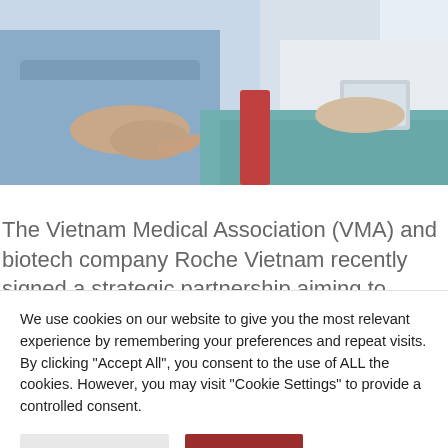[Figure (photo): Medical photo showing a patient in a blue hospital gown reclining in a chair, with a healthcare professional in a white coat nearby. Both figures are partially visible from mid-torso, in a clinical setting with blue and teal tones.]
The Vietnam Medical Association (VMA) and biotech company Roche Vietnam recently signed a strategic partnership aiming to increase the rate of early breast
We use cookies on our website to give you the most relevant experience by remembering your preferences and repeat visits. By clicking “Accept All”, you consent to the use of ALL the cookies. However, you may visit "Cookie Settings" to provide a controlled consent.